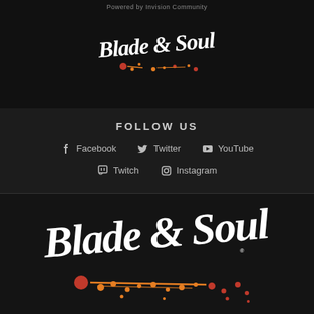Powered by invision community
[Figure (logo): Blade & Soul logo small, white script text with red and orange ink splatter, on black background]
FOLLOW US
Facebook   Twitter   YouTube   Twitch   Instagram
[Figure (logo): Blade & Soul logo large, white script text with red and orange ink splatter on dark background]